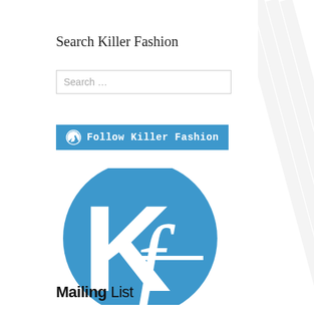Search Killer Fashion
[Figure (screenshot): Search input box with placeholder text 'Search ...']
[Figure (screenshot): WordPress 'Follow Killer Fashion' button in blue with WordPress logo icon]
[Figure (logo): Killer Fashion mailing list logo: blue circle with stylized 'Kf' letters in white, with text 'Mailing List' below in bold black]